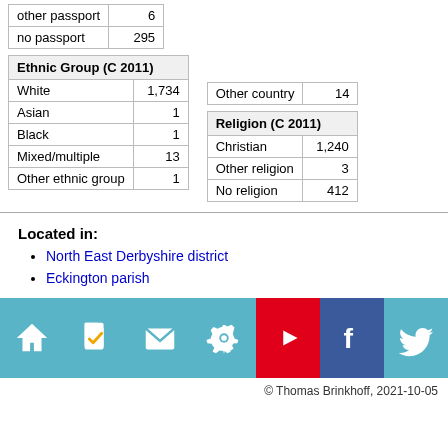|  |  |
| --- | --- |
| other passport | 6 |
| no passport | 295 |
| Other country | 14 |
| --- | --- |
| Ethnic Group (C 2011) |  |
| --- | --- |
| White | 1,734 |
| Asian | 1 |
| Black | 1 |
| Mixed/multiple | 13 |
| Other ethnic group | 1 |
| Religion (C 2011) |  |
| --- | --- |
| Christian | 1,240 |
| Other religion | 3 |
| No religion | 412 |
Located in:
North East Derbyshire district
Eckington parish
[Figure (infographic): Icon bar with 7 icons: home, document/checkmark, mail, settings/gear, YouTube play button, Facebook, Twitter. Backgrounds: teal for home/document/mail/settings/twitter, red for YouTube, dark blue for Facebook.]
© Thomas Brinkhoff, 2021-10-05